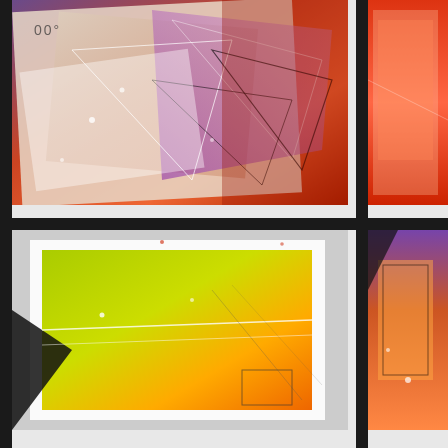[Figure (photo): Abstract geometric mixmedia artwork with overlapping triangles, rectangles in red, orange, purple and white tones on paper]
The night hope / 76-56cm / mixmedia on 300gsm WindsorNewton textured paper / Nocturnes exhibition / 2015
[Figure (photo): Partially visible abstract artwork with red and orange tones on right side]
wild blu... / WindsorNewton... / Nocturnes exhibition...
[Figure (photo): Abstract mixmedia artwork with yellow-green gradient and diagonal lines]
[Figure (photo): Partially visible abstract artwork on right side with dark and orange tones]